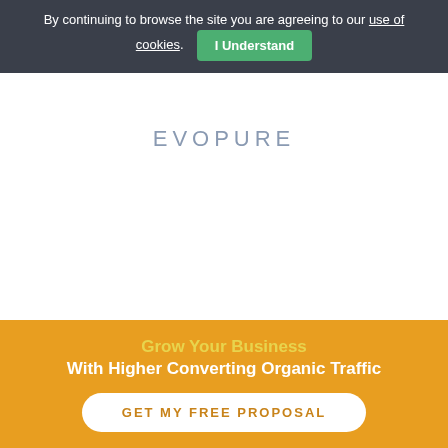By continuing to browse the site you are agreeing to our use of cookies. I Understand
EVOPURE
Grow Your Business
With Higher Converting Organic Traffic
GET MY FREE PROPOSAL